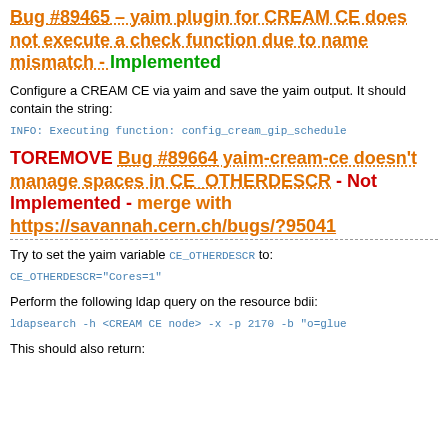Bug #89465 – yaim plugin for CREAM CE does not execute a check function due to name mismatch - Implemented
Configure a CREAM CE via yaim and save the yaim output. It should contain the string:
INFO: Executing function: config_cream_gip_schedule
TOREMOVE Bug #89664  yaim-cream-ce doesn't manage spaces in CE_OTHERDESCR - Not Implemented - merge with https://savannah.cern.ch/bugs/?95041
Try to set the yaim variable CE_OTHERDESCR to:
CE_OTHERDESCR="Cores=1"
Perform the following ldap query on the resource bdii:
ldapsearch -h <CREAM CE node> -x -p 2170 -b "o=glue
This should also return: